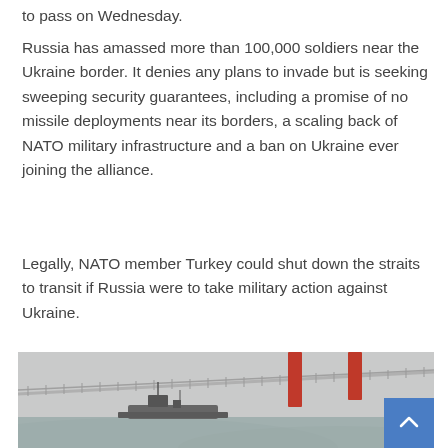to pass on Wednesday.
Russia has amassed more than 100,000 soldiers near the Ukraine border. It denies any plans to invade but is seeking sweeping security guarantees, including a promise of no missile deployments near its borders, a scaling back of NATO military infrastructure and a ban on Ukraine ever joining the alliance.
Legally, NATO member Turkey could shut down the straits to transit if Russia were to take military action against Ukraine.
[Figure (photo): A large suspension bridge with two tall red towers visible in a foggy/grey atmosphere, with a naval vessel visible in the lower portion of the image near the water.]